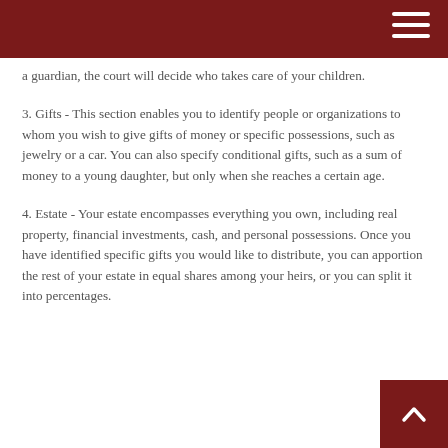a guardian, the court will decide who takes care of your children.
3. Gifts - This section enables you to identify people or organizations to whom you wish to give gifts of money or specific possessions, such as jewelry or a car. You can also specify conditional gifts, such as a sum of money to a young daughter, but only when she reaches a certain age.
4. Estate - Your estate encompasses everything you own, including real property, financial investments, cash, and personal possessions. Once you have identified specific gifts you would like to distribute, you can apportion the rest of your estate in equal shares among your heirs, or you can split it into percentages. For example, you can decide to give 45 percent and